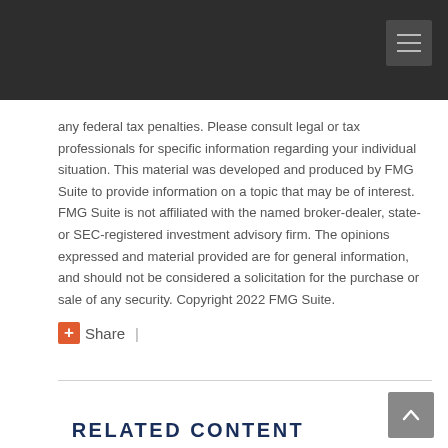any federal tax penalties. Please consult legal or tax professionals for specific information regarding your individual situation. This material was developed and produced by FMG Suite to provide information on a topic that may be of interest. FMG Suite is not affiliated with the named broker-dealer, state- or SEC-registered investment advisory firm. The opinions expressed and material provided are for general information, and should not be considered a solicitation for the purchase or sale of any security. Copyright 2022 FMG Suite.
Share |
RELATED CONTENT